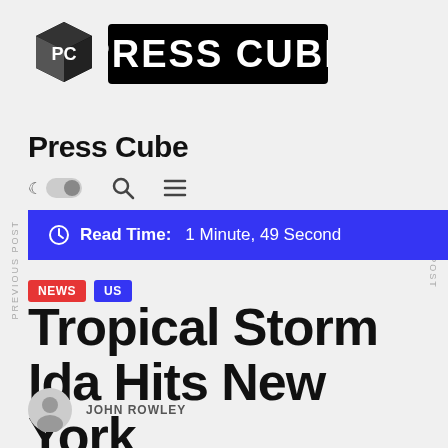[Figure (logo): Press Cube logo: cube icon with 'PC' letters on the left, bold text 'PRESS CUBE' in black rectangle on the right]
Press Cube
[Figure (other): Navigation bar with dark mode toggle (moon icon + toggle switch), search icon, and hamburger menu icon]
Read Time: 1 Minute, 49 Second
NEWS  US
Tropical Storm Ida Hits New York
JOHN ROWLEY